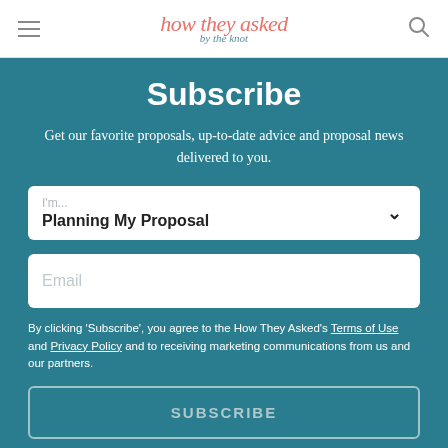how they asked by the knot
Subscribe
Get our favorite proposals, up-to-date advice and proposal news delivered to you.
I'm... Planning My Proposal
Email
By clicking 'Subscribe', you agree to the How They Asked's Terms of Use and Privacy Policy and to receiving marketing communications from us and our partners.
SUBSCRIBE